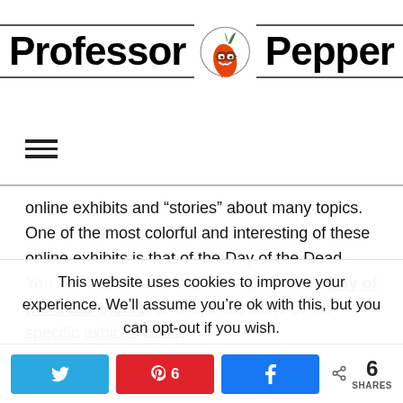Professor Pepper
online exhibits and “stories” about many topics. One of the most colorful and interesting of these online exhibits is that of the Day of the Dead. You can explore the entire Google-hosted Day of the Dead theme, or check out some of the specific exhibits below.
Museo de Arte Popular
This website uses cookies to improve your experience. We’ll assume you’re ok with this, but you can opt-out if you wish.
6 SHARES